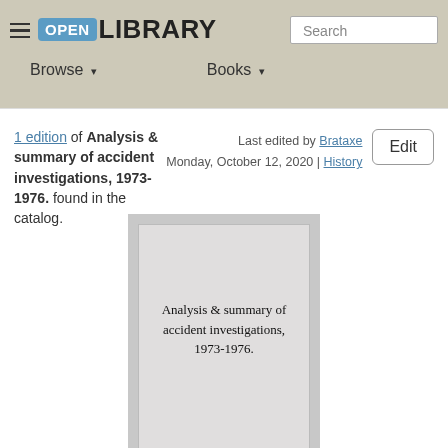Open Library — Browse | Books | Search
1 edition of Analysis & summary of accident investigations, 1973-1976. found in the catalog. Last edited by Brataxe Monday, October 12, 2020 | History
[Figure (illustration): Book cover placeholder card showing title: Analysis & summary of accident investigations, 1973-1976.]